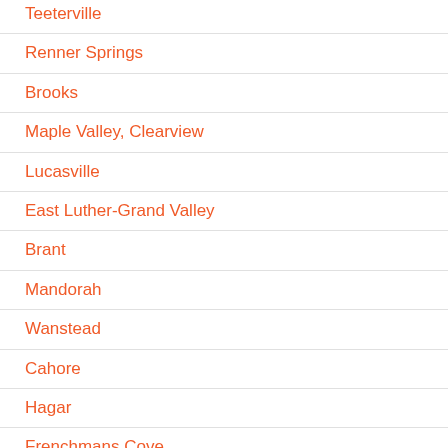Teeterville
Renner Springs
Brooks
Maple Valley, Clearview
Lucasville
East Luther-Grand Valley
Brant
Mandorah
Wanstead
Cahore
Hagar
Frenchmans Cove
Morganston
Ironsides